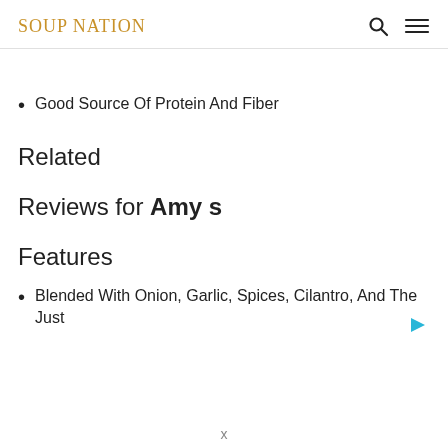SOUP NATION
Good Source Of Protein And Fiber
Related
Reviews for Amy s
Features
Blended With Onion, Garlic, Spices, Cilantro, And The Just